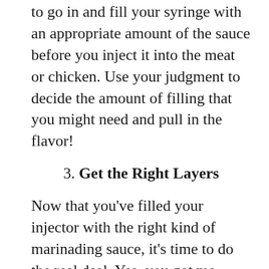to go in and fill your syringe with an appropriate amount of the sauce before you inject it into the meat or chicken. Use your judgment to decide the amount of filling that you might need and pull in the flavor!
3. Get the Right Layers
Now that you've filled your injector with the right kind of marinading sauce, it's time to do the real deal. Yes, you got me right! Time to pull the syringe!
However, there are a few things that you should take care of while marinading the meat. It's imperative to make sure that you have got